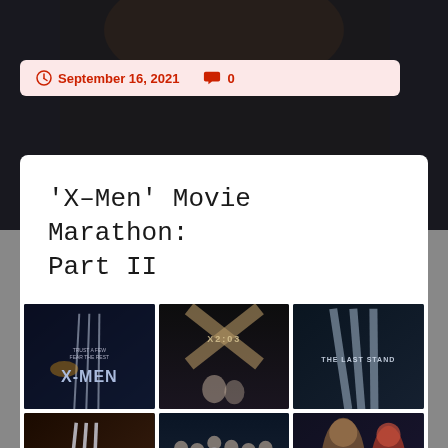September 16, 2021   0
'X-Men' Movie Marathon: Part II
[Figure (photo): Grid of six X-Men movie posters: X-Men (2000), X2 (2003), X-Men: The Last Stand (2006), The Wolverine, X-Men: First Class, The Wolverine/Logan with Mystique]